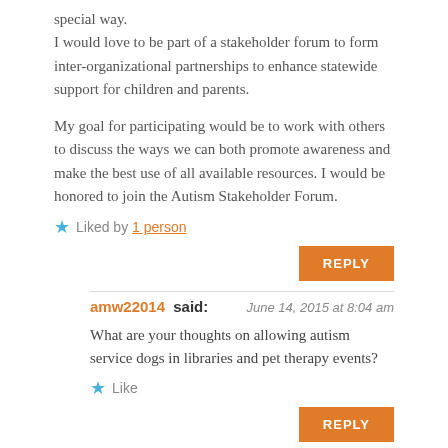special way.
I would love to be part of a stakeholder forum to form inter-organizational partnerships to enhance statewide support for children and parents.
My goal for participating would be to work with others to discuss the ways we can both promote awareness and make the best use of all available resources. I would be honored to join the Autism Stakeholder Forum.
★ Liked by 1 person
REPLY
amw22014 said: June 14, 2015 at 8:04 am
What are your thoughts on allowing autism service dogs in libraries and pet therapy events?
★ Like
REPLY
TAP – The Autism Program of Illinois – Mary Pelich,